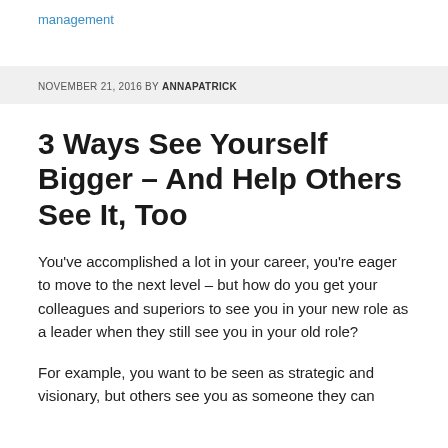management
NOVEMBER 21, 2016 BY ANNAPATRICK
3 Ways See Yourself Bigger – And Help Others See It, Too
You've accomplished a lot in your career, you're eager to move to the next level – but how do you get your colleagues and superiors to see you in your new role as a leader when they still see you in your old role?
For example, you want to be seen as strategic and visionary, but others see you as someone they can